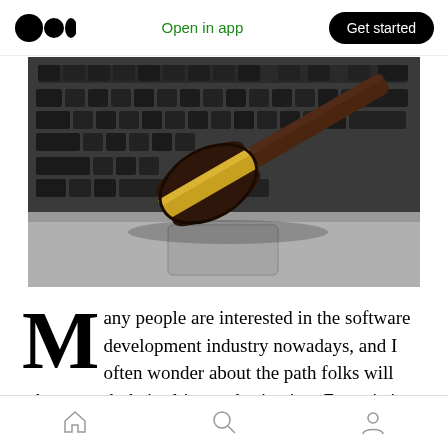Open in app  Get started
[Figure (photo): A wooden judge's gavel with a gold band resting on a laptop keyboard, photographed from above at an angle. The keyboard is a MacBook-style silver laptop. The image conveys law and technology.]
Many people are interested in the software development industry nowadays, and I often wonder about the path folks will take to reach their ultimate destination. For existing